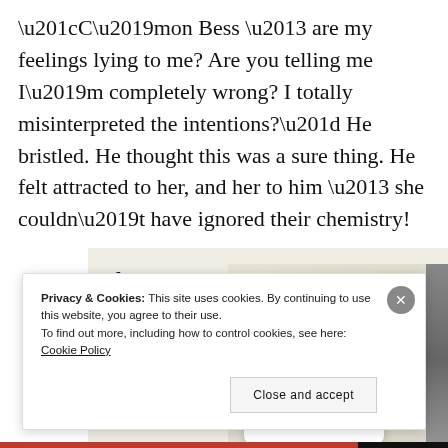“C’mon Bess – are my feelings lying to me? Are you telling me I’m completely wrong? I totally misinterpreted the intentions?” He bristled. He thought this was a sure thing. He felt attracted to her, and her to him – she couldn’t have ignored their chemistry!
[Figure (screenshot): Advertisement banner showing 'than a week' text with an 'Explore options' green button and app screenshots showing food delivery interface with a logo 'A']
Privacy & Cookies: This site uses cookies. By continuing to use this website, you agree to their use.
To find out more, including how to control cookies, see here: Cookie Policy
Close and accept